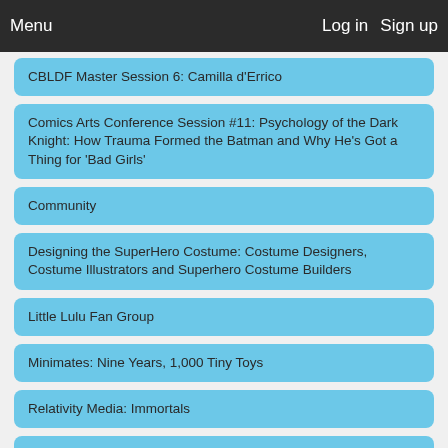Menu | Log in | Sign up
CBLDF Master Session 6: Camilla d'Errico
Comics Arts Conference Session #11: Psychology of the Dark Knight: How Trauma Formed the Batman and Why He's Got a Thing for 'Bad Girls'
Community
Designing the SuperHero Costume: Costume Designers, Costume Illustrators and Superhero Costume Builders
Little Lulu Fan Group
Minimates: Nine Years, 1,000 Tiny Toys
Relativity Media: Immortals
Robert Kirkman